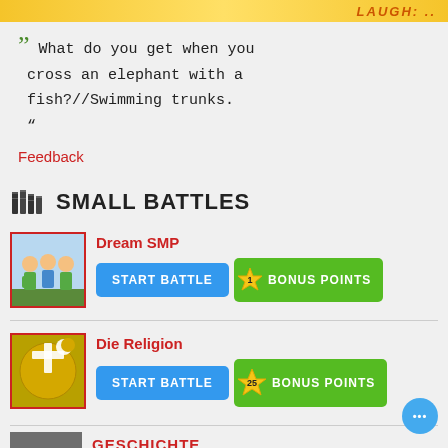[Figure (screenshot): Yellow/orange banner with smiley face emoji and 'LAUGH:' text in orange italic letters]
“” What do you get when you cross an elephant with a fish?//Swimming trunks. "
Feedback
SMALL BATTLES
Dream SMP
START BATTLE
1 BONUS POINTS
Die Religion
START BATTLE
25 BONUS POINTS
GESCHICHTE